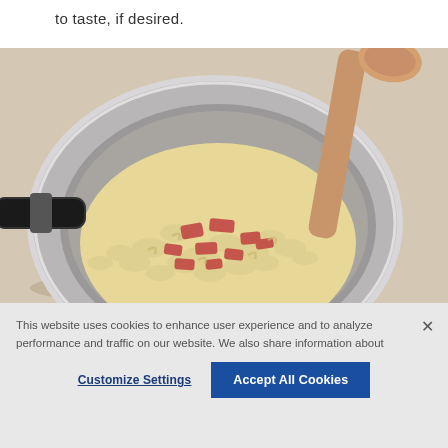to taste, if desired.
[Figure (photo): A stainless steel saucepan with macaroni and chopped bacon pieces being stirred with a wooden spoon, on a light beige background.]
This website uses cookies to enhance user experience and to analyze performance and traffic on our website. We also share information about your use of our site with our social media, advertising and analytics partners. Link to Cookie Policy
Customize Settings
Accept All Cookies